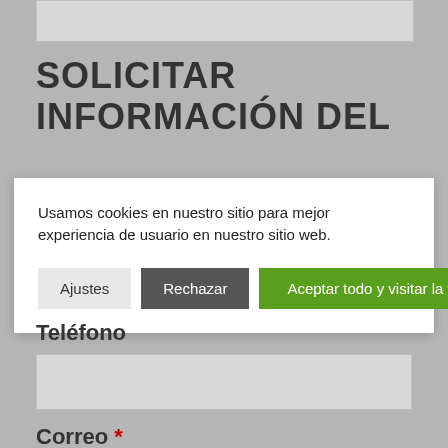SOLICITAR INFORMACIÓN DEL
Usamos cookies en nuestro sitio para mejor experiencia de usuario en nuestro sitio web.
Ajustes | Rechazar | Aceptar todo y visitar la web
Teléfono
Correo *